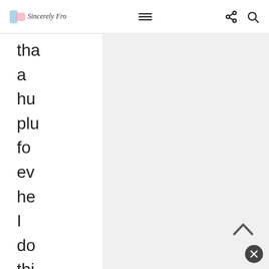Sincerely Fro [logo] navigation bar with hamburger menu, share, and search icons
tha a hu plu fo ev he I do thi it's ne to an of